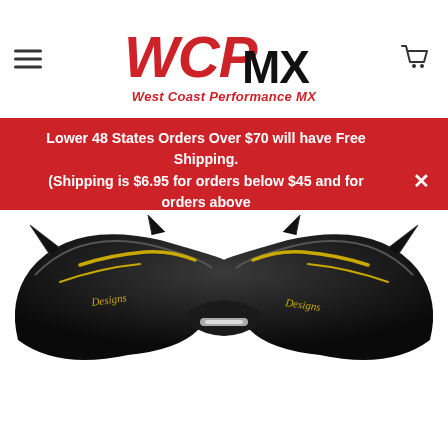WCP MX — West Coast Performance MX
Lower 48 States Orders Over $70 will have Free Shipping. (Shipping is $6.95 for orders below $45 and for orders above $45 shipping is $3.95.)
[Figure (photo): Black motocross helmet visor/peak with gold design details, photographed from below against a white background.]